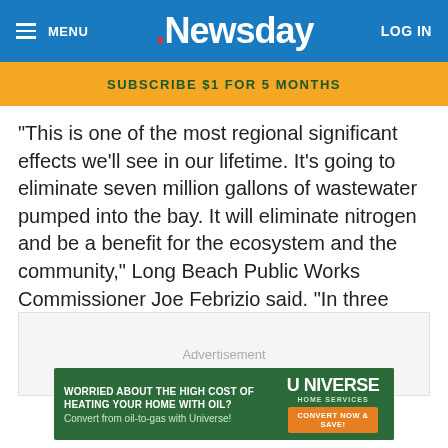MENU | Newsday | LOG IN
SUBSCRIBE $1 FOR 5 MONTHS
“This is one of the most regional significant effects we’ll see in our lifetime. It’s going to eliminate seven million gallons of wastewater pumped into the bay. It will eliminate nitrogen and be a benefit for the ecosystem and the community,” Long Beach Public Works Commissioner Joe Febrizio said. “In three years, the city will be out of the sewer business.”
Advertisement
[Figure (infographic): Universe Home Services advertisement: green background with text 'WORRIED ABOUT THE HIGH COST OF HEATING YOUR HOME WITH OIL? Convert from oil-to-gas with Universe!' and a 'CONVERT NOW & SAVE!' button.]